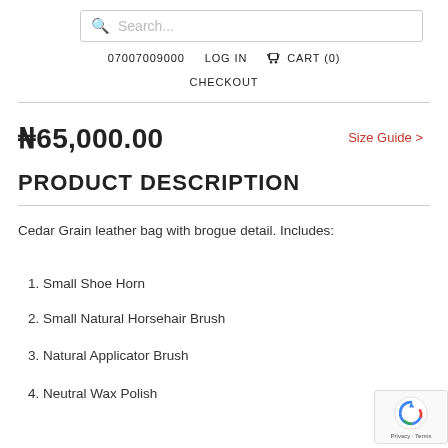Search... | 07007009000 | LOG IN | CART (0) | CHECKOUT
₦65,000.00
Size Guide >
PRODUCT DESCRIPTION
Cedar Grain leather bag with brogue detail. Includes:
1. Small Shoe Horn
2. Small Natural Horsehair Brush
3. Natural Applicator Brush
4. Neutral Wax Polish